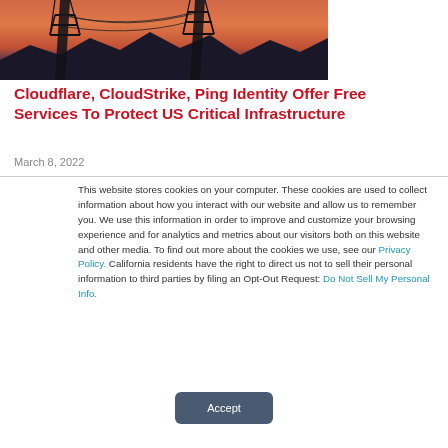[Figure (photo): Silhouette of electrical power transmission towers against an orange-red sunset sky with mountains in background]
Cloudflare, CloudStrike, Ping Identity Offer Free Services To Protect US Critical Infrastructure
March 8, 2022
This website stores cookies on your computer. These cookies are used to collect information about how you interact with our website and allow us to remember you. We use this information in order to improve and customize your browsing experience and for analytics and metrics about our visitors both on this website and other media. To find out more about the cookies we use, see our Privacy Policy. California residents have the right to direct us not to sell their personal information to third parties by filing an Opt-Out Request: Do Not Sell My Personal Info.
Accept